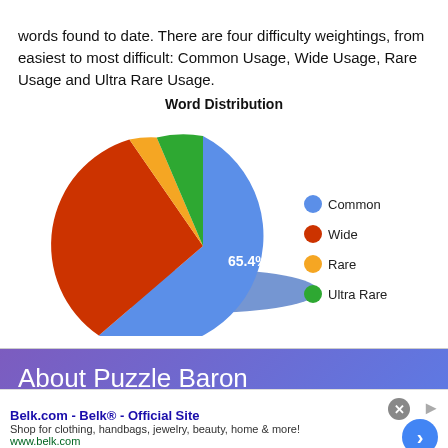words found to date. There are four difficulty weightings, from easiest to most difficult: Common Usage, Wide Usage, Rare Usage and Ultra Rare Usage.
[Figure (pie-chart): Word Distribution]
About Puzzle Baron
The Puzzle Baron family of web sites has served...